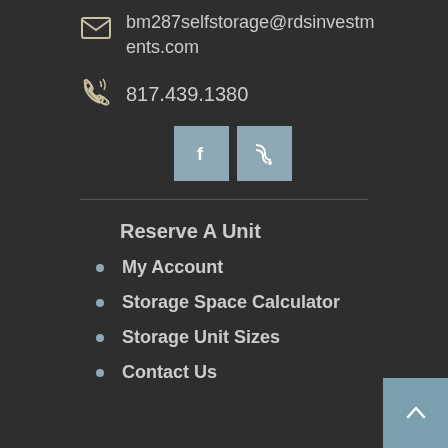bm287selfstorage@rdsinvestments.com
817.439.1380
[Figure (other): Social media icons: Facebook (f) and RSS feed buttons in steel blue square buttons]
Reserve A Unit
My Account
Storage Space Calculator
Storage Unit Sizes
Contact Us